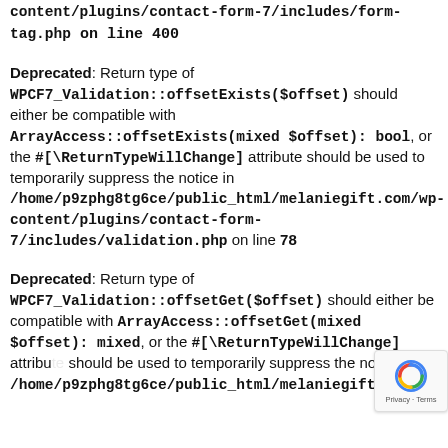content/plugins/contact-form-7/includes/form-tag.php on line 400
Deprecated: Return type of WPCF7_Validation::offsetExists($offset) should either be compatible with ArrayAccess::offsetExists(mixed $offset): bool, or the #[\ReturnTypeWillChange] attribute should be used to temporarily suppress the notice in /home/p9zphg8tg6ce/public_html/melaniegift.com/wp-content/plugins/contact-form-7/includes/validation.php on line 78
Deprecated: Return type of WPCF7_Validation::offsetGet($offset) should either be compatible with ArrayAccess::offsetGet(mixed $offset): mixed, or the #[\ReturnTypeWillChange] attribute should be used to temporarily suppress the notice in /home/p9zphg8tg6ce/public_html/melaniegift.com/wp-